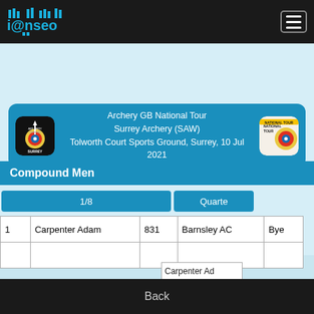ianseo (logo) — navigation bar with hamburger menu
[Figure (logo): ianseo app logo with blue text and signal bar graphics on dark background]
[Figure (infographic): Event card: Archery GB National Tour, Surrey Archery (SAW), Tolworth Court Sports Ground, Surrey, 10 Jul 2021, with Surrey Archery Weekend logo on left and National Tour logo on right]
Archery GB National Tour
Surrey Archery (SAW)
Tolworth Court Sports Ground, Surrey, 10 Jul 2021
Compound Men
1/8
Quarte
|  | Name | Score | Club | Result |
| --- | --- | --- | --- | --- |
| 1 | Carpenter Adam | 831 | Barnsley AC | Bye |
|  |  |  |  |  |
Carpenter Ad
Back